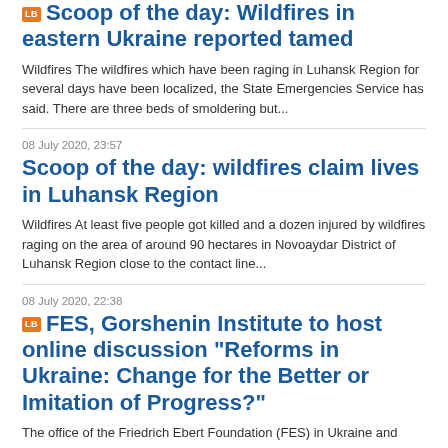Scoop of the day: Wildfires in eastern Ukraine reported tamed
Wildfires The wildfires which have been raging in Luhansk Region for several days have been localized, the State Emergencies Service has said. There are three beds of smoldering but...
08 July 2020, 23:57
Scoop of the day: wildfires claim lives in Luhansk Region
Wildfires At least five people got killed and a dozen injured by wildfires raging on the area of around 90 hectares in Novoaydar District of Luhansk Region close to the contact line...
08 July 2020, 22:38
FES, Gorshenin Institute to host online discussion "Reforms in Ukraine: Change for the Better or Imitation of Progress?"
The office of the Friedrich Ebert Foundation (FES) in Ukraine and Gorshenin Institute will host the presentation and discussion